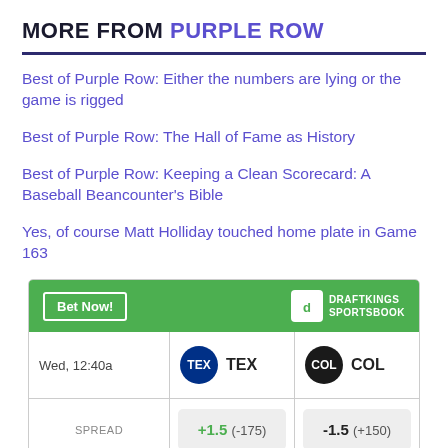MORE FROM PURPLE ROW
Best of Purple Row: Either the numbers are lying or the game is rigged
Best of Purple Row: The Hall of Fame as History
Best of Purple Row: Keeping a Clean Scorecard: A Baseball Beancounter's Bible
Yes, of course Matt Holliday touched home plate in Game 163
|  | TEX | COL |
| --- | --- | --- |
| SPREAD | +1.5  (-175) | -1.5  (+150) |
| MONEY LINE | +105 | -125 |